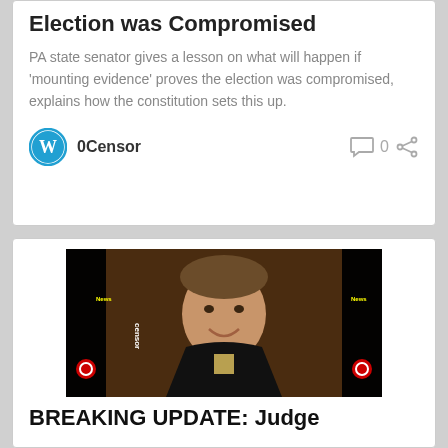Election was Compromised
PA state senator gives a lesson on what will happen if 'mounting evidence' proves the election was compromised, explains how the constitution sets this up.
0Censor
[Figure (photo): Portrait photo of a man in a judge's robe smiling, with 0Censor News watermarks on left and right sides]
BREAKING UPDATE: Judge